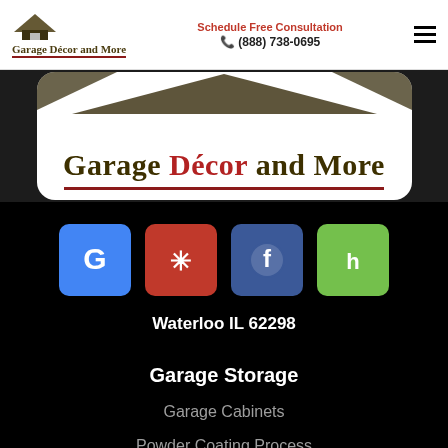[Figure (logo): Garage Décor and More logo with roof icon, navigation bar with phone number and hamburger menu]
[Figure (logo): Large Garage Décor and More logo on white rounded card with dark roof graphic above]
[Figure (infographic): Row of four social media icons: Google (blue), Yelp (red), Facebook (blue), Houzz (green)]
Waterloo IL 62298
Garage Storage
Garage Cabinets
Powder Coating Process
Metal Garage Cabinets
Garage Slatwall